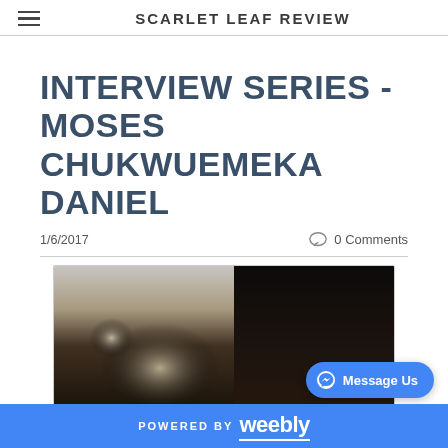SCARLET LEAF REVIEW
INTERVIEW SERIES - MOSES CHUKWUEMEKA DANIEL
1/6/2017
0 Comments
[Figure (photo): Close-up photo of a person's face, partially lit, dark background on the right side]
POWERED BY weebly